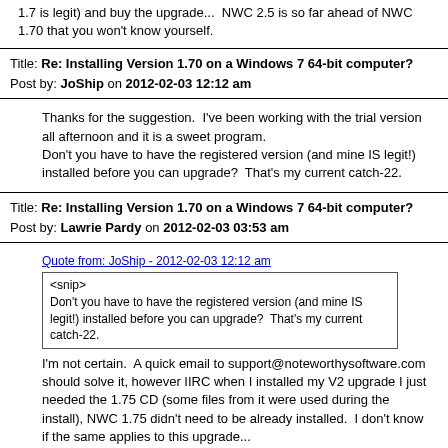1.7 is legit) and buy the upgrade...  NWC 2.5 is so far ahead of NWC 1.70 that you won't know yourself.
Title: Re: Installing Version 1.70 on a Windows 7 64-bit computer?
Post by: JoShip on 2012-02-03 12:12 am
Thanks for the suggestion.  I've been working with the trial version all afternoon and it is a sweet program.
Don't you have to have the registered version (and mine IS legit!) installed before you can upgrade?  That's my current catch-22.
Title: Re: Installing Version 1.70 on a Windows 7 64-bit computer?
Post by: Lawrie Pardy on 2012-02-03 03:53 am
Quote from: JoShip - 2012-02-03 12:12 am
<snip>
Don't you have to have the registered version (and mine IS legit!) installed before you can upgrade?  That's my current catch-22.
I'm not certain.  A quick email to support@noteworthysoftware.com should solve it, however IIRC when I installed my V2 upgrade I just needed the 1.75 CD (some files from it were used during the install), NWC 1.75 didn't need to be already installed.  I don't know if the same applies to this upgrade...
Title: Re: Installing Version 1.70 on a Windows 7 64-bit computer?
Post by: Flurmy on 2012-02-03 07:31 am